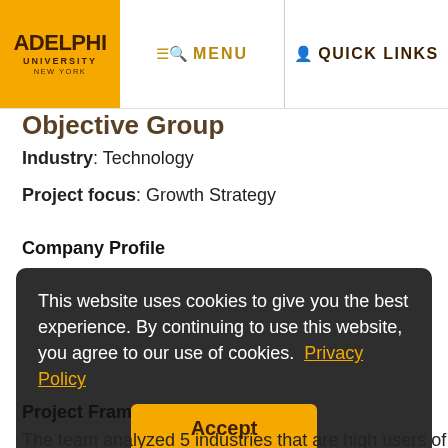ADELPHI UNIVERSITY NEW YORK | MENU | QUICK LINKS
Objective Group
Industry: Technology
Project focus: Growth Strategy
Company Profile
Objective Group is a private information technology and services company that specializes in software development, agile methodologies, assessment and consulting.
This website uses cookies to give you the best experience. By continuing to use this website, you agree to our use of cookies. Privacy Policy
Project Fram
The team analyzed 5 industries that are high users of